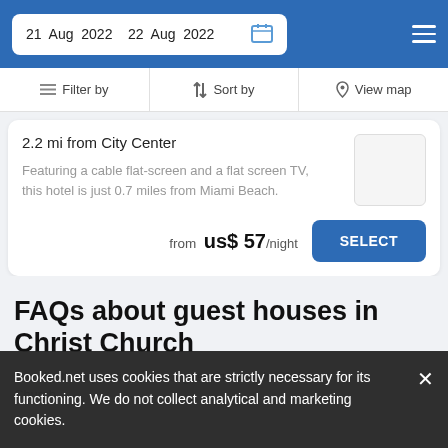21 Aug 2022   22 Aug 2022
Filter by   Sort by   View map
2.2 mi from City Center
Featuring a cable flat-screen and a flat screen TV, this hotel is just 0.7 miles from Miami Beach.
from  us$ 57/night   SELECT
FAQs about guest houses in Christ Church
Booked.net uses cookies that are strictly necessary for its functioning. We do not collect analytical and marketing cookies.